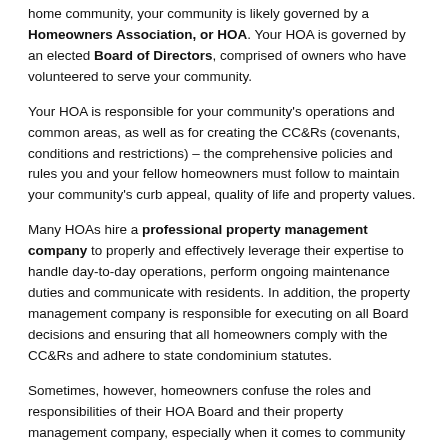home community, your community is likely governed by a Homeowners Association, or HOA. Your HOA is governed by an elected Board of Directors, comprised of owners who have volunteered to serve your community.
Your HOA is responsible for your community's operations and common areas, as well as for creating the CC&Rs (covenants, conditions and restrictions) – the comprehensive policies and rules you and your fellow homeowners must follow to maintain your community's curb appeal, quality of life and property values.
Many HOAs hire a professional property management company to properly and effectively leverage their expertise to handle day-to-day operations, perform ongoing maintenance duties and communicate with residents. In addition, the property management company is responsible for executing on all Board decisions and ensuring that all homeowners comply with the CC&Rs and adhere to state condominium statutes.
Sometimes, however, homeowners confuse the roles and responsibilities of their HOA Board and their property management company, especially when it comes to community rule enforcement. Despite what many